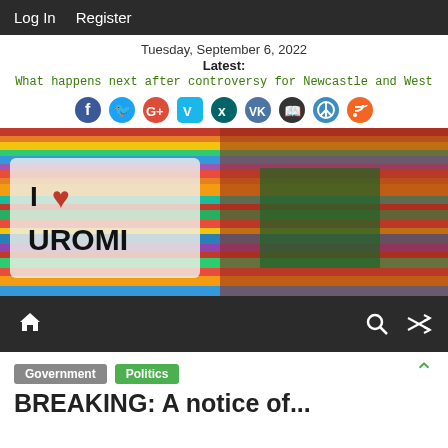Log In   Register
Tuesday, September 6, 2022
Latest:
What happens next after controversy for Newcastle and West
[Figure (illustration): Social media icons: Facebook, Twitter, Google+, Vimeo, Xing, VK, book/read, peace, RSS feed]
[Figure (photo): Banner image showing colorful striped traditional fabric and a logo overlay reading 'I ❤ UROMI']
Home icon, Search icon, Shuffle icon navigation bar
Government   Politics
BREAKING: A notice of...